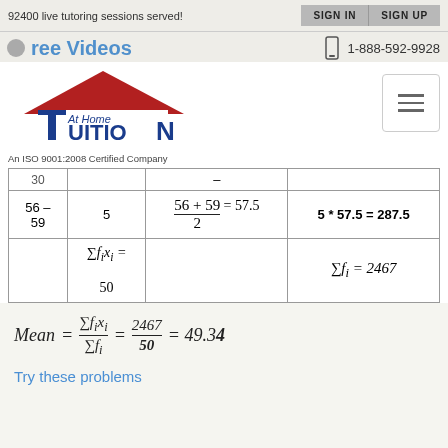92400 live tutoring sessions served!
Free Videos | 1-888-592-9928
[Figure (logo): At Home Tuition logo with red roof and blue text. An ISO 9001:2008 Certified Company]
| Class | Frequency (fi) | Class Mark (xi) | fi * xi |
| --- | --- | --- | --- |
| 56 – 59 | 5 | (56 + 59) / 2 = 57.5 | 5 * 57.5 = 287.5 |
|  | ∑fi xi = 50 |  | ∑fi = 2467 |
Try these problems